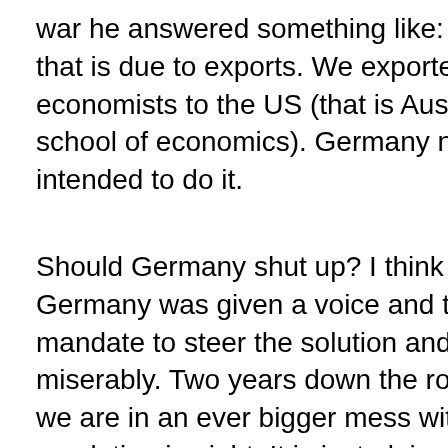war he answered something like: Ouch, that is due to exports. We exported all our economists to the US (that is Austrian school of economics). Germany never intended to do it.
Should Germany shut up? I think so. Germany was given a voice and the euro-mandate to steer the solution and it failed miserably. Two years down the road and we are in an ever bigger mess without any resolution in sight. It is just plain scary to live in it.
Pay? Sorry, Germans have already paid for everything.